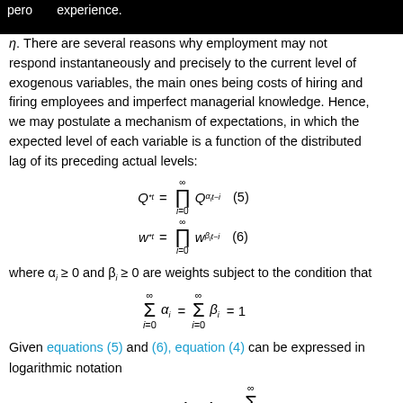perio experience. astern m η.
η. There are several reasons why employment may not respond instantaneously and precisely to the current level of exogenous variables, the main ones being costs of hiring and firing employees and imperfect managerial knowledge. Hence, we may postulate a mechanism of expectations, in which the expected level of each variable is a function of the distributed lag of its preceding actual levels:
where α_i ≥ 0 and β_i ≥ 0 are weights subject to the condition that
Given equations (5) and (6), equation (4) can be expressed in logarithmic notation